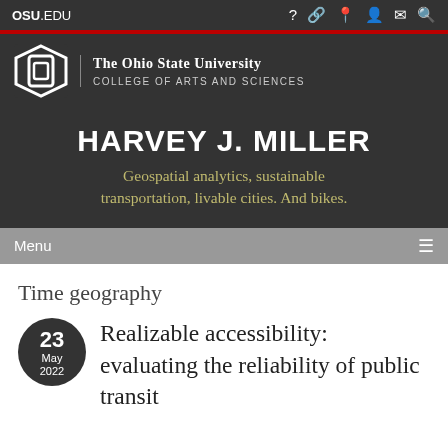OSU.EDU
[Figure (logo): The Ohio State University block O logo mark with university name and College of Arts and Sciences]
HARVEY J. MILLER
Geospatial analytics, sustainable transportation, livable cities. And bikes.
Menu
Time geography
23 May 2022 — Realizable accessibility: evaluating the reliability of public transit